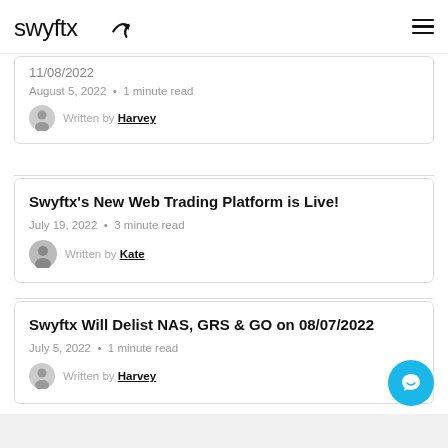swyftx
11/08/2022
August 5, 2022 • 1 minute read
Written by Harvey
Swyftx's New Web Trading Platform is Live!
July 19, 2022 • 3 minute read
Written by Kate
Swyftx Will Delist NAS, GRS & GO on 08/07/2022
July 5, 2022 • 1 minute read
Written by Harvey